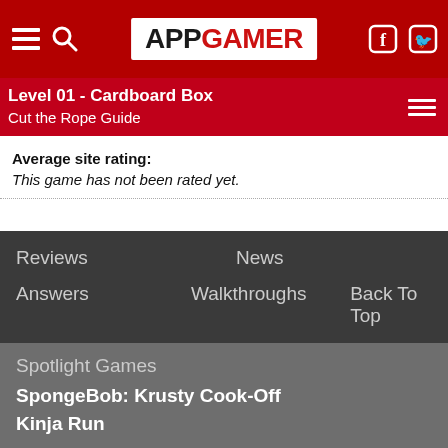APP GAMER
Level 01 - Cardboard Box
Cut the Rope Guide
Average site rating:
This game has not been rated yet.
Reviews | News | Answers | Walkthroughs | Back To Top
Spotlight Games
SpongeBob: Krusty Cook-Off
Kinja Run
[Figure (screenshot): Lidl advertisement banner: Lidl Groceries Are Low-Priced, Lidl]